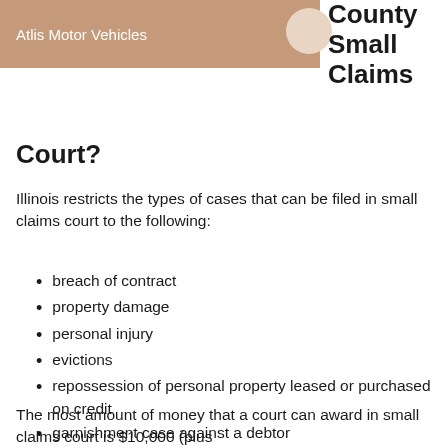[Figure (logo): Header bar with 'Atlis Motor Vehicles' text in white on tan/brown background with a light circle shape]
County Small Claims Court?
Illinois restricts the types of cases that can be filed in small claims court to the following:
breach of contract
property damage
personal injury
evictions
repossession of personal property leased or purchased on credit
garnishment case against a debtor
The most amount of money that a court can award in small claims court is $10,000 (plus